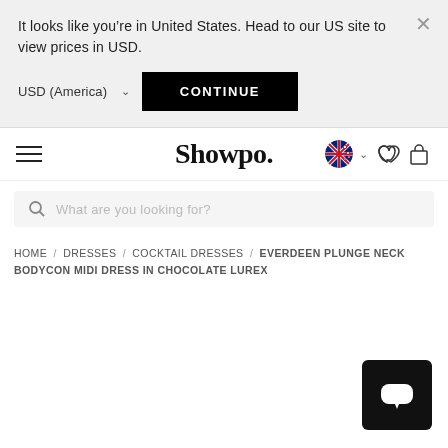It looks like you’re in United States. Head to our US site to view prices in USD.
USD (America) ∨  CONTINUE
Showpo.
What are you looking for?
HOME / DRESSES / COCKTAIL DRESSES / EVERDEEN PLUNGE NECK BODYCON MIDI DRESS IN CHOCOLATE LUREX